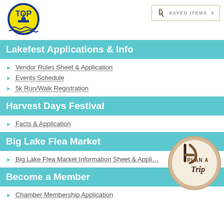[Figure (logo): TOP logo with yellow circle and blue text, boat silhouette and water lines]
[Figure (other): Saved Items box with icon and counter showing 0]
Lakefest Applications & Info
Vendor Rules Sheet & Application
Events Schedule
5k Run/Walk Registration
Harvest Days Festival
Facts & Application
Big Lake Flea Market
Big Lake Flea Market Information Sheet & Appli…
[Figure (logo): Plan A Trip sticker badge with brown arrow/fork icon and cursive Trip text]
Become a Member
Chamber Membership Application